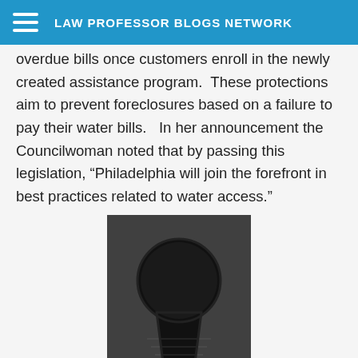LAW PROFESSOR BLOGS NETWORK
overdue bills once customers enroll in the newly created assistance program.  These protections aim to prevent foreclosures based on a failure to pay their water bills.   In her announcement the Councilwoman noted that by passing this legislation, “Philadelphia will join the forefront in best practices related to water access.”
[Figure (photo): Black and white keyhole image showing a circular opening at top and trapezoidal shaft below, with light visible through it.]
graphic by Paul Kamufi
A race to the top in the arena of water access would have positive implications for communities around the country. And, Philadelphia can serve as